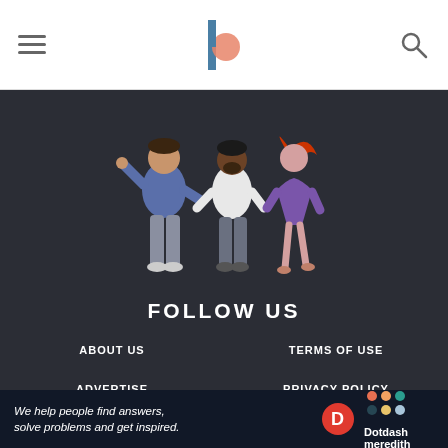Navigation header with hamburger menu, logo, and search icon
[Figure (illustration): Three illustrated people standing: a person in blue sweater gesturing, a man in white shirt, and a woman in purple dress with red hair]
FOLLOW US
[Figure (infographic): Four social media icons in light blue circles: Facebook, Twitter, Instagram, LinkedIn]
ABOUT US
TERMS OF USE
ADVERTISE
PRIVACY POLICY
EDITORIAL GUIDELINES
CALIFORNIA PRIVACY
We help people find answers, solve problems and get inspired. Dotdash meredith